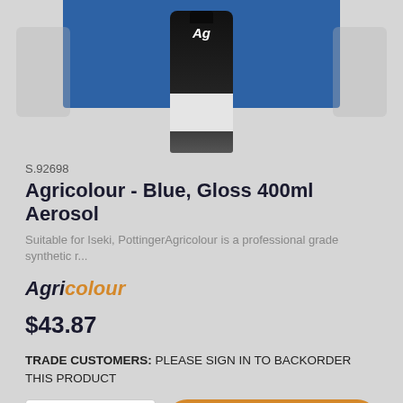[Figure (photo): Product photo of Agricolour aerosol spray can in black with white label, shown against a blue background with ghost/blurred side images]
S.92698
Agricolour - Blue, Gloss 400ml Aerosol
Suitable for Iseki, PottingerAgricolour is a professional grade synthetic r...
[Figure (logo): Agricolour brand logo — 'Agri' in bold dark italic, 'colour' in bold orange italic]
$43.87
TRADE CUSTOMERS: PLEASE SIGN IN TO BACKORDER THIS PRODUCT